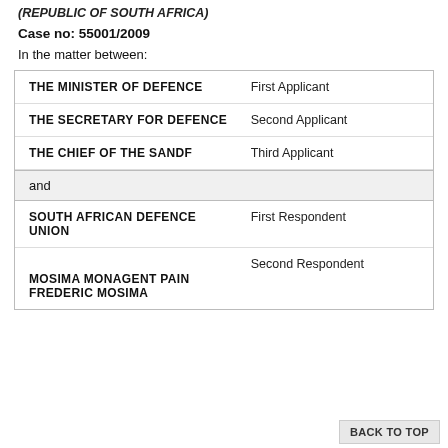(REPUBLIC OF SOUTH AFRICA)
Case no: 55001/2009
In the matter between:
| Party | Role |
| --- | --- |
| THE MINISTER OF DEFENCE | First Applicant |
| THE SECRETARY FOR DEFENCE | Second Applicant |
| THE CHIEF OF THE SANDF | Third Applicant |
| and |  |
| SOUTH AFRICAN DEFENCE UNION | First Respondent |
| MOSIMA MONAGENT PAIN FREDERIC MOSIMA | Second Respondent |